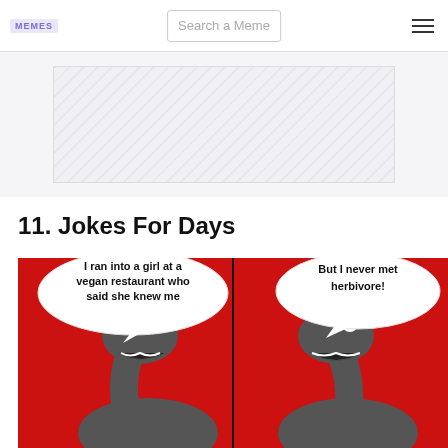MEMES | Search a Meme
[Figure (other): Ad/banner placeholder area with diagonal stripe pattern]
11. Jokes For Days
[Figure (illustration): Two-panel dinosaur meme on red background. Left panel: T-Rex with speech bubble 'I ran into a girl at a vegan restaurant who said she knew me'. Right panel: T-Rex with speech bubble 'But I never met herbivore!']